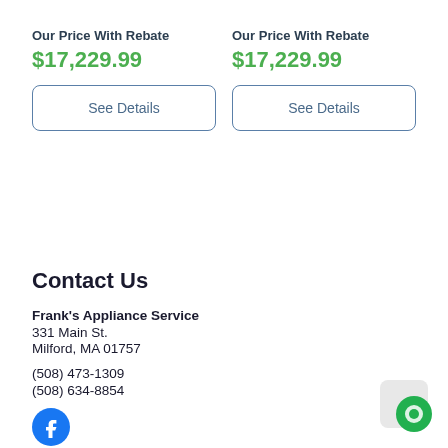Our Price With Rebate
$17,229.99
See Details
Our Price With Rebate
$17,229.99
See Details
Contact Us
Frank's Appliance Service
331 Main St.
Milford, MA 01757
(508) 473-1309
(508) 634-8854
[Figure (logo): Facebook logo icon (blue circle with white F)]
[Figure (other): Chat widget button (green circle with chat icon) in bottom-right corner]